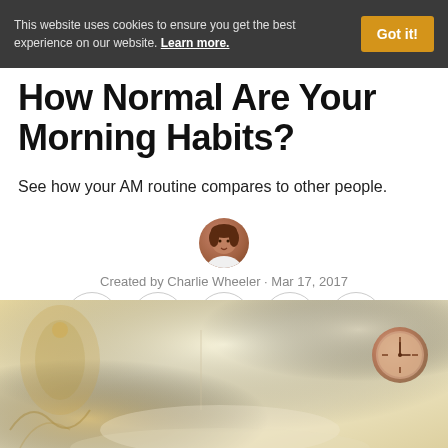This website uses cookies to ensure you get the best experience on our website. Learn more.
How Normal Are Your Morning Habits?
See how your AM routine compares to other people.
Created by Charlie Wheeler · Mar 17, 2017
[Figure (other): Social sharing icons: Facebook, Pinterest, Twitter, SMS, Messenger]
[Figure (photo): Warm-toned bedroom scene with golden/cream colors, decorative elements, and an analog clock on the right wall]